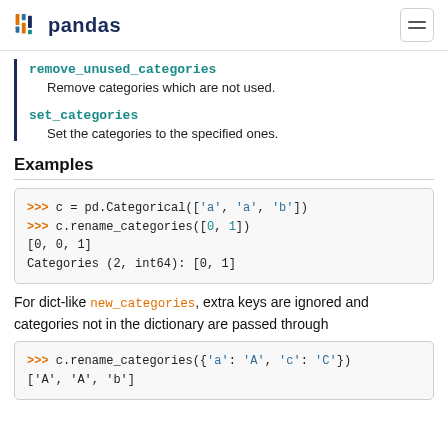pandas
remove_unused_categories — Remove categories which are not used.
set_categories — Set the categories to the specified ones.
Examples
>>> c = pd.Categorical(['a', 'a', 'b'])
>>> c.rename_categories([0, 1])
[0, 0, 1]
Categories (2, int64): [0, 1]
For dict-like new_categories, extra keys are ignored and categories not in the dictionary are passed through
>>> c.rename_categories({'a': 'A', 'c': 'C'})
['A', 'A', 'b']